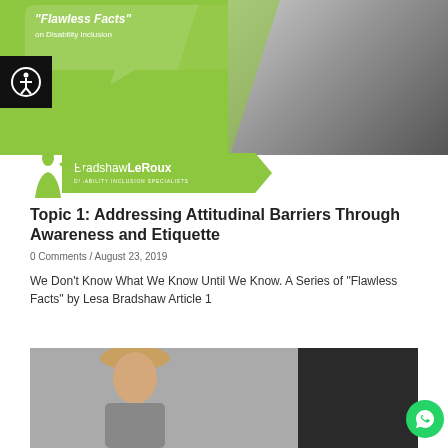[Figure (photo): Top banner with green speech bubble graphic and grayscale photo of woman in background. Features 'Flawless Facts on Disability Inclusion' text and BradshawLeRoux logo stripe.]
Topic 1: Addressing Attitudinal Barriers Through Awareness and Etiquette
0 Comments / August 23, 2019
We Don't Know What We Know Until We Know. A Series of "Flawless Facts" by Lesa Bradshaw Article 1
[Figure (photo): Portrait photo of a blonde woman against a grey and dark background.]